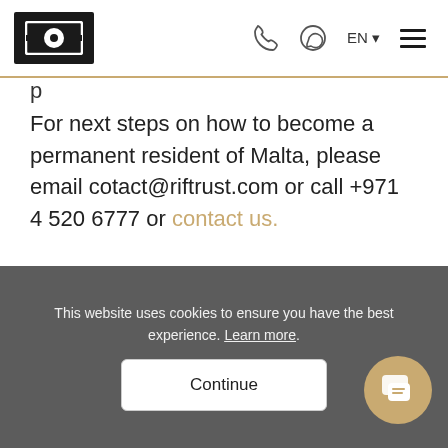Navigation bar with logo, phone icon, WhatsApp icon, EN language selector, and hamburger menu
For next steps on how to become a permanent resident of Malta, please email cotact@riftrust.com or call +971 4 520 6777 or contact us.
Share
This website uses cookies to ensure you have the best experience. Learn more.
Continue